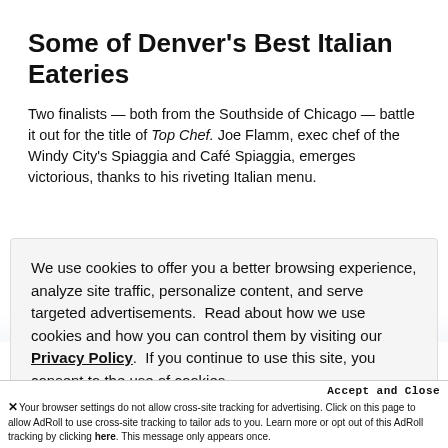Some of Denver's Best Italian Eateries
Two finalists — both from the Southside of Chicago — battle it out for the title of Top Chef. Joe Flamm, exec chef of the Windy City's Spiaggia and Café Spiaggia, emerges victorious, thanks to his riveting Italian menu.
We use cookies to offer you a better browsing experience, analyze site traffic, personalize content, and serve targeted advertisements.  Read about how we use cookies and how you can control them by visiting our Privacy Policy.  If you continue to use this site, you consent to the use of cookies.
Accept and Close
✕ Your browser settings do not allow cross-site tracking for advertising. Click on this page to allow AdRoll to use cross-site tracking to tailor ads to you. Learn more or opt out of this AdRoll tracking by clicking here. This message only appears once.